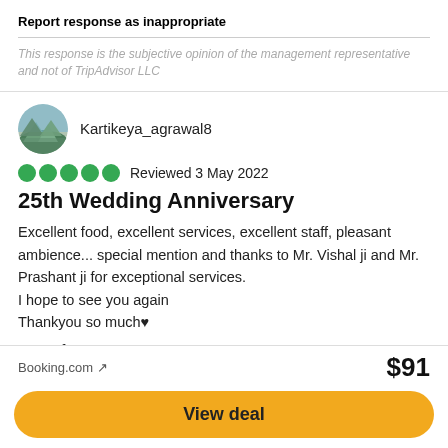Report response as inappropriate
This response is the subjective opinion of the management representative and not of TripAdvisor LLC
Kartikeya_agrawal8
Reviewed 3 May 2022
25th Wedding Anniversary
Excellent food, excellent services, excellent staff, pleasant ambience... special mention and thanks to Mr. Vishal ji and Mr. Prashant ji for exceptional services.
I hope to see you again
Thankyou so much♥
Date of stay: May 2022
Trip type: Travelled with family
Booking.com ↗
$91
View deal